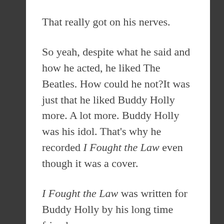That really got on his nerves.
So yeah, despite what he said and how he acted, he liked The Beatles. How could he not?It was just that he liked Buddy Holly more. A lot more. Buddy Holly was his idol. That's why he recorded I Fought the Law even though it was a cover.
I Fought the Law was written for Buddy Holly by his long time friend